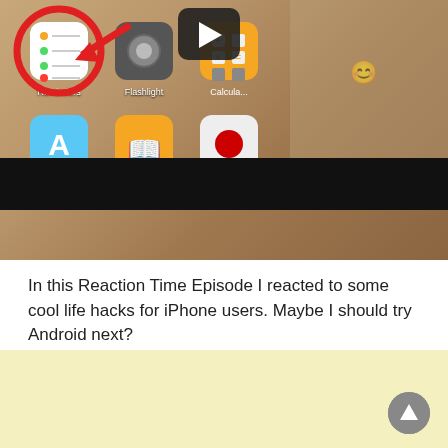[Figure (screenshot): YouTube video thumbnail showing an iPhone home screen with app icons (Reminders, Flashlight, Calculator, App Store, Books), a red circle and arrow highlighting the Reminders app, a play button overlay, a person holding an iPhone visible on the right side, and a black bar at the bottom.]
In this Reaction Time Episode I reacted to some cool life hacks for iPhone users. Maybe I should try Android next?